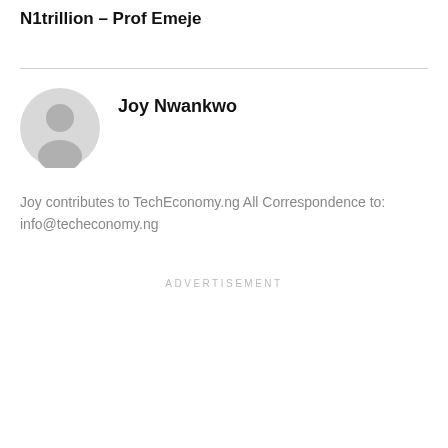N1trillion – Prof Emeje
[Figure (illustration): Gray circular avatar/profile icon with silhouette of a person]
Joy Nwankwo
Joy contributes to TechEconomy.ng All Correspondence to: info@techeconomy.ng
ADVERTISEMENT